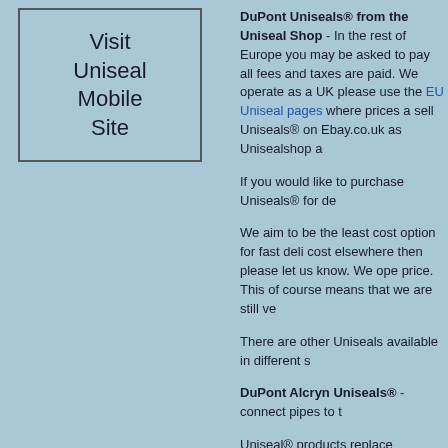[Figure (other): Box with text 'Visit Uniseal Mobile Site']
DuPont Uniseals® from the Uniseal Shop - In the rest of Europe you may be asked to pay all fees and taxes are paid. We operate as a UK please use the EU Uniseal pages where prices a sell Uniseals® on Ebay.co.uk as Unisealshop a
If you would like to purchase Uniseals® for de
We aim to be the least cost option for fast deli cost elsewhere then please let us know. We ope price. This of course means that we are still ve
There are other Uniseals available in different s
DuPont Alcryn Uniseals® - connect pipes to t
Uniseal® products replace traditional plumbing connections. For many industries pipe to tank s rings, along with long assembly times and high
The DuPont developed Alcryn® is the key to the pipe to squeeze through and then forms a liqui seal.
Uniseals® will connect pipes to complex conto
Standard Uniseals® are made to fit ABS, PVC
The greatest assets to Uniseal® products are th